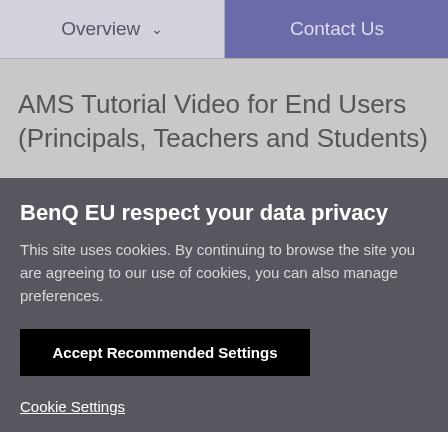Overview  ∨    Contact Us
AMS Tutorial Video for End Users (Principals, Teachers and Students)
BenQ EU respect your data privacy
This site uses cookies. By continuing to browse the site you are agreeing to our use of cookies, you can also manage preferences.
Accept Recommended Settings
Cookie Settings